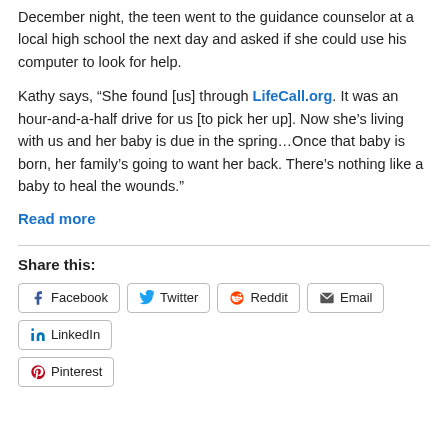December night, the teen went to the guidance counselor at a local high school the next day and asked if she could use his computer to look for help.
Kathy says, “She found [us] through LifeCall.org. It was an hour-and-a-half drive for us [to pick her up]. Now she’s living with us and her baby is due in the spring…Once that baby is born, her family’s going to want her back. There’s nothing like a baby to heal the wounds.”
Read more
Share this:
Facebook
Twitter
Reddit
Email
LinkedIn
Pinterest